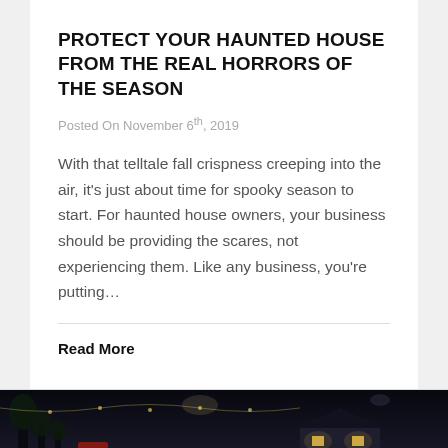PROTECT YOUR HAUNTED HOUSE FROM THE REAL HORRORS OF THE SEASON
Posted On November 6th, 2019
With that telltale fall crispness creeping into the air, it's just about time for spooky season to start. For haunted house owners, your business should be providing the scares, not experiencing them. Like any business, you're putting…
Read More
[Figure (photo): Night-time outdoor photo showing a dark house/building scene with lights and people in the foreground]